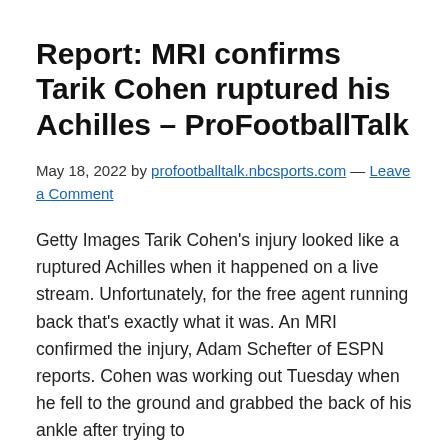Report: MRI confirms Tarik Cohen ruptured his Achilles – ProFootballTalk
May 18, 2022 by profootballtalk.nbcsports.com — Leave a Comment
Getty Images Tarik Cohen's injury looked like a ruptured Achilles when it happened on a live stream. Unfortunately, for the free agent running back that's exactly what it was. An MRI confirmed the injury, Adam Schefter of ESPN reports. Cohen was working out Tuesday when he fell to the ground and grabbed the back of his ankle after trying to